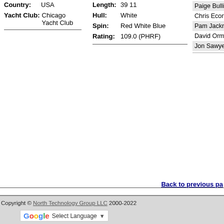Country: USA
Yacht Club: Chicago Yacht Club
Length: 39 11
Hull: White
Spin: Red White Blue
Rating: 109.0 (PHRF)
Paige Bullins
Chris Economos
Pam Jacknow
David Ormesher
Jon Sawyer
Back to previous page
Copyright © North Technology Group LLC 2000-2022